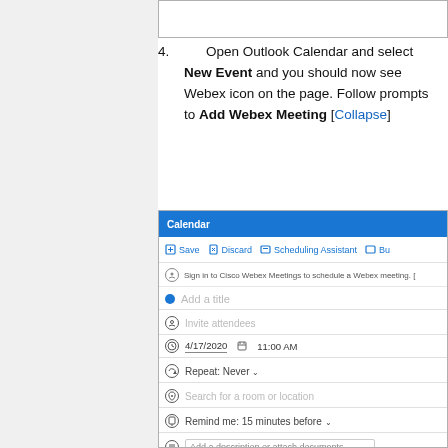[Figure (screenshot): Top portion of a screenshot showing a dialog or browser window (cropped, only top edge visible)]
4. Open Outlook Calendar and select New Event and you should now see Webex icon on the page. Follow prompts to Add Webex Meeting [Collapse]
[Figure (screenshot): Screenshot of Outlook Calendar new event form showing: Calendar header in blue, toolbar with Save, Discard, Scheduling Assistant, and Bu(sy) buttons, a Webex sign-in prompt row, Add a title field with blue dot, Invite attendees field, date 4/17/2020 with time 11:00 AM, Repeat: Never dropdown, Search for a room or location field, Remind me: 15 minutes before dropdown, Add a description or attach documents field]